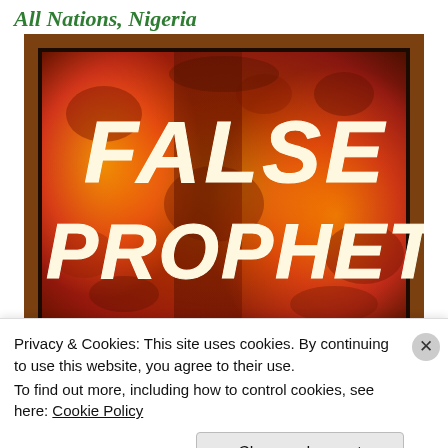All Nations, Nigeria
[Figure (illustration): Book or album cover image with a fiery flame background in orange and red tones. Large italic white text reads 'FALSE PROPHETS'. The image is framed with a dark brown/black border.]
Privacy & Cookies: This site uses cookies. By continuing to use this website, you agree to their use.
To find out more, including how to control cookies, see here: Cookie Policy
Close and accept